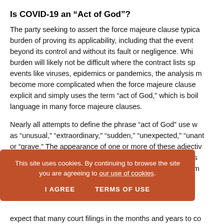Is COVID-19 an “Act of God”?
The party seeking to assert the force majeure clause typically bears the burden of proving its applicability, including that the event was beyond its control and without its fault or negligence. While this burden will likely not be difficult where the contract lists specific events like viruses, epidemics or pandemics, the analysis may become more complicated when the force majeure clause is not explicit and simply uses the term “act of God,” which is boilerplate language in many force majeure clauses.
Nearly all attempts to define the phrase “act of God” use words such as “unusual,” “extraordinary,” “sudden,” “unexpected,” “unanticipatred,” or “grave.” The appearance of one or more of these adjectives in almost every definition or description of the phrase reflects the general requirement that, in order for a casualty or phenomenon to be considered an act of God, it must be determined to be out s
expect that many court filings in the months and years to co